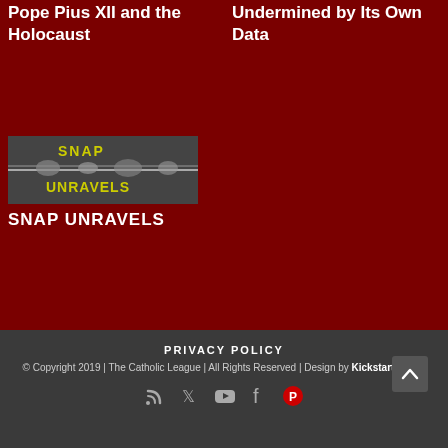Pope Pius XII and the Holocaust
Undermined by Its Own Data
[Figure (photo): Black and white image of barbed wire with yellow text 'SNAP UNRAVELS' overlaid on a dark background]
SNAP UNRAVELS
PRIVACY POLICY
© Copyright 2019 | The Catholic League | All Rights Reserved | Design by Kickstart Media